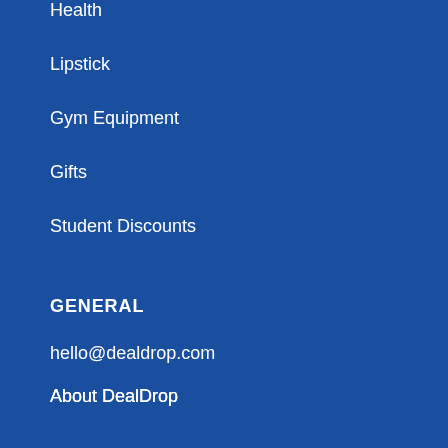Health
Lipstick
Gym Equipment
Gifts
Student Discounts
GENERAL
hello@dealdrop.com
About DealDrop
Popular Stores
Submit a Coupon
DealDrop Research
Privacy Policy